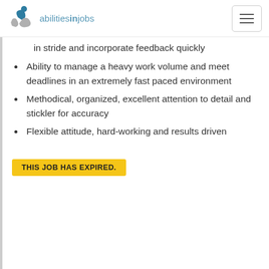abilitiesinjobs
in stride and incorporate feedback quickly
Ability to manage a heavy work volume and meet deadlines in an extremely fast paced environment
Methodical, organized, excellent attention to detail and stickler for accuracy
Flexible attitude, hard-working and results driven
THIS JOB HAS EXPIRED.